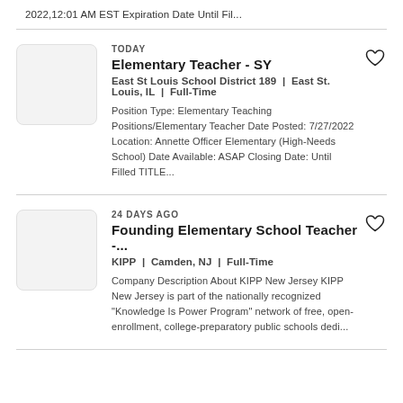2022,12:01 AM EST Expiration Date Until Fil...
TODAY
Elementary Teacher - SY
East St Louis School District 189 | East St. Louis, IL | Full-Time
Position Type: Elementary Teaching Positions/Elementary Teacher Date Posted: 7/27/2022 Location: Annette Officer Elementary (High-Needs School) Date Available: ASAP Closing Date: Until Filled TITLE...
24 DAYS AGO
Founding Elementary School Teacher -...
KIPP | Camden, NJ | Full-Time
Company Description About KIPP New Jersey KIPP New Jersey is part of the nationally recognized "Knowledge Is Power Program" network of free, open-enrollment, college-preparatory public schools dedi...